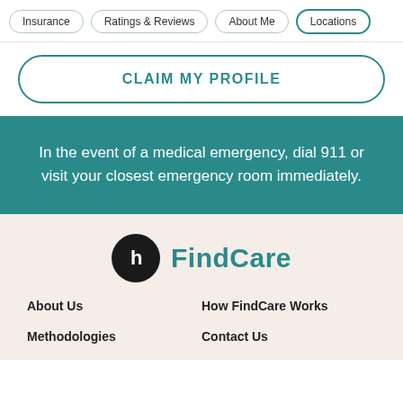Insurance | Ratings & Reviews | About Me | Locations
CLAIM MY PROFILE
In the event of a medical emergency, dial 911 or visit your closest emergency room immediately.
[Figure (logo): Healthgrades FindCare logo — black circle with white 'h' icon and teal 'FindCare' text]
About Us
How FindCare Works
Methodologies
Contact Us